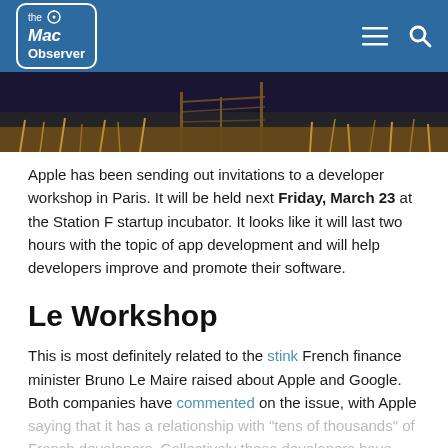the Mac Observer
[Figure (photo): A photo of what appears to be a metal structure or bridge, possibly the Eiffel Tower, with golden reed-like elements in the foreground against a dark sky.]
Apple has been sending out invitations to a developer workshop in Paris. It will be held next Friday, March 23 at the Station F startup incubator. It looks like it will last two hours with the topic of app development and will help developers improve and promote their software.
Le Workshop
This is most definitely related to the stink French finance minister Bruno Le Maire raised about Apple and Google. Both companies have commented on the issue, with Apple saying that it has a relationship with "tens of thousands" of French developers. Collectively these developers have earned over a billion euros from the App Store.